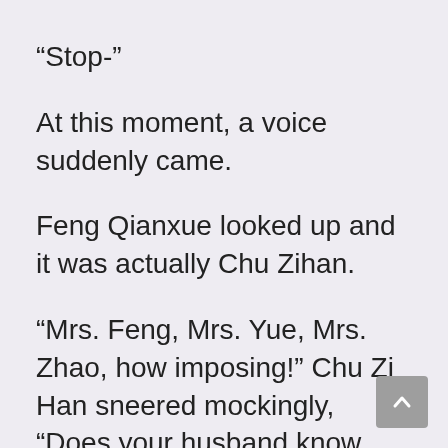“Stop-”
At this moment, a voice suddenly came.
Feng Qianxue looked up and it was actually Chu Zihan.
“Mrs. Feng, Mrs. Yue, Mrs. Zhao, how imposing!” Chu Zi Han sneered mockingly, “Does your husband know that you are in the night, fighting over male models and jealousy?”